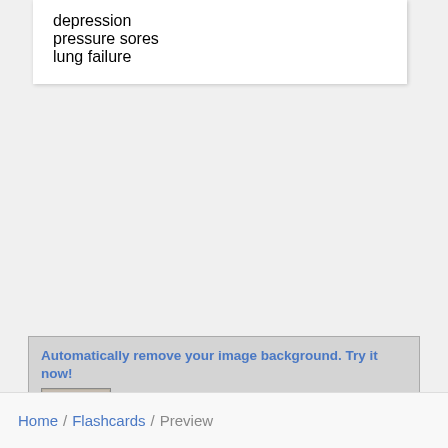depression
pressure sores
lung failure
[Figure (infographic): Advertisement for remove-image-background.com showing a dog photo with background removed and placed on a t-shirt. Title: 'Automatically remove your image background. Try it now!' URL: https://remove-image-background.com]
Home / Flashcards / Preview